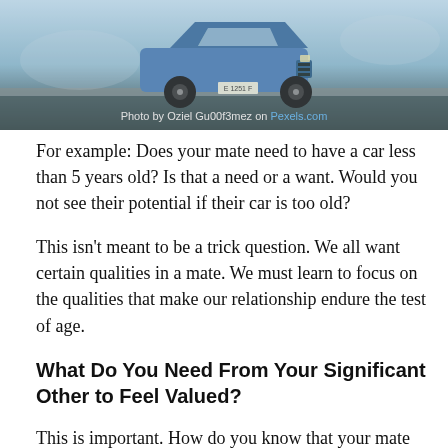[Figure (photo): A blue car photographed in wintry/foggy conditions, viewed from the front-side angle. Photo credit: Oziel Gu00f3mez on Pexels.com]
Photo by Oziel Gu00f3mez on Pexels.com
For example: Does your mate need to have a car less than 5 years old? Is that a need or a want. Would you not see their potential if their car is too old?
This isn’t meant to be a trick question. We all want certain qualities in a mate. We must learn to focus on the qualities that make our relationship endure the test of age.
What Do You Need From Your Significant Other to Feel Valued?
This is important. How do you know that your mate values you? Do you feel slighted when you put out effort to be thoughtful and there is no thank you at the end? Again, with this question there is no right or wrong answer.